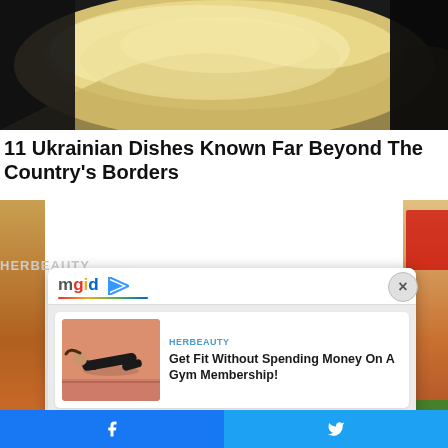[Figure (photo): Top banner photo of creamy food/dough in a bowl or pot]
11 Ukrainian Dishes Known Far Beyond The Country's Borders
[Figure (screenshot): MGID advertising overlay panel containing two sponsored content cards: 1) HERBEAUTY - Get Fit Without Spending Money On A Gym Membership! with fitness photo; 2) BRAINBERRIES - 7 Black Hole Facts That Will Change Your View Of The Universe with space photo. Panel has mgid logo at top and X close button.]
Facebook share button | Twitter share button